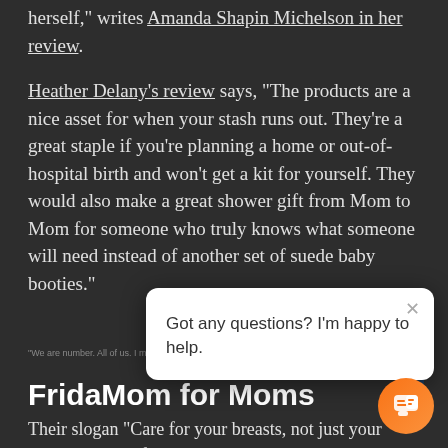herself," writes Amanda Shapin Michelson in her review.
Heather Delany's review says, "The products are a nice asset for when your stash runs out. They're a great staple if you're planning a home or out-of-hospital birth and won't get a kit for yourself. They would also make a great shower gift from Mom to Mom for someone who truly knows what someone will need instead of another set of suede baby booties."
We are number. All of us. I mean, but...
[Figure (screenshot): Chat popup overlay with X close button and text: Got any questions? I'm happy to help.]
FridaMom for Moms
Their slogan "Care for your breasts, not just your baby" is the perfect way to put their aim.